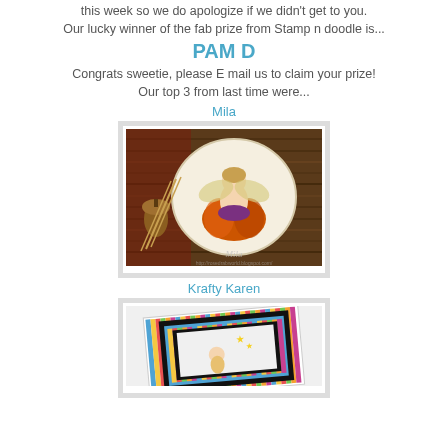this week so we do apologize if we didn't get to you. Our lucky winner of the fab prize from Stamp n doodle is...
PAM D
Congrats sweetie, please E mail us to claim your prize! Our top 3 from last time were...
Mila
[Figure (photo): Handmade greeting card featuring a fairy sitting on a pumpkin, with autumn/fall theme elements including acorns and wheat, on a wood-textured dark background with oval cream mat. Watermark reads Mila.]
Krafty Karen
[Figure (photo): Handmade greeting card with colorful striped paper, black mats, and a fairy/girl image with stars, shown propped at an angle.]